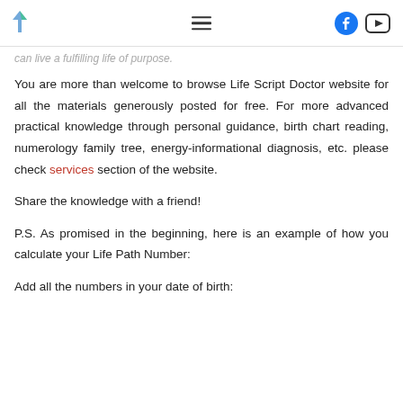[navigation bar with logo, hamburger menu, Facebook and YouTube icons]
can live a fulfilling life of purpose.
You are more than welcome to browse Life Script Doctor website for all the materials generously posted for free. For more advanced practical knowledge through personal guidance, birth chart reading, numerology family tree, energy-informational diagnosis, etc. please check services section of the website.
Share the knowledge with a friend!
P.S. As promised in the beginning, here is an example of how you calculate your Life Path Number:
Add all the numbers in your date of birth: